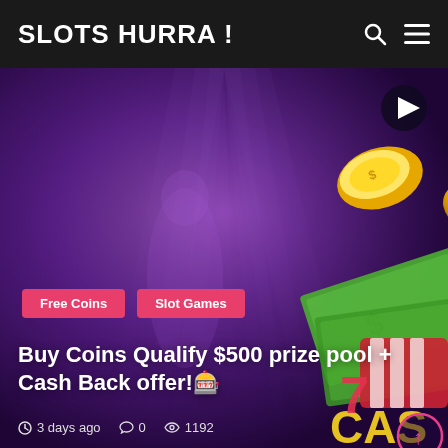SLOTS HURRA !
[Figure (screenshot): Hero image with purple glowing background, floating gold coin, casino slot game elements including green money bills and colorful slot symbols on the right side. Pink tags labeled 'Free Coins' and 'Slot Games' overlaid on the image.]
Buy Coins Qualify $500 prize pool + Cash Back offer!🎰
3 days ago   0   1192